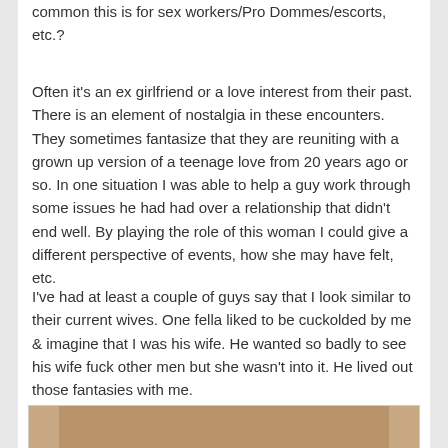common this is for sex workers/Pro Dommes/escorts, etc.?
Often it's an ex girlfriend or a love interest from their past. There is an element of nostalgia in these encounters. They sometimes fantasize that they are reuniting with a grown up version of a teenage love from 20 years ago or so. In one situation I was able to help a guy work through some issues he had had over a relationship that didn't end well. By playing the role of this woman I could give a different perspective of events, how she may have felt, etc.
I've had at least a couple of guys say that I look similar to their current wives. One fella liked to be cuckolded by me & imagine that I was his wife. He wanted so badly to see his wife fuck other men but she wasn't into it. He lived out those fantasies with me.
[Figure (photo): Partial photograph visible at bottom of page, showing what appears to be a close-up image with brown/bronze tones]